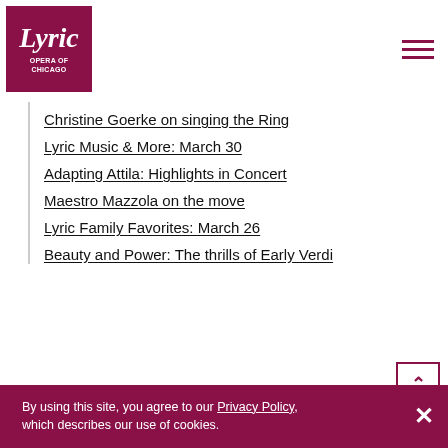[Figure (logo): Lyric Opera of Chicago logo - dark red square with italic Lyric text and OPERA OF CHICAGO below]
Christine Goerke on singing the Ring
Lyric Music & More: March 30
Adapting Attila: Highlights in Concert
Maestro Mazzola on the move
Lyric Family Favorites: March 26
Beauty and Power: The thrills of Early Verdi
By using this site, you agree to our Privacy Policy, which describes our use of cookies.